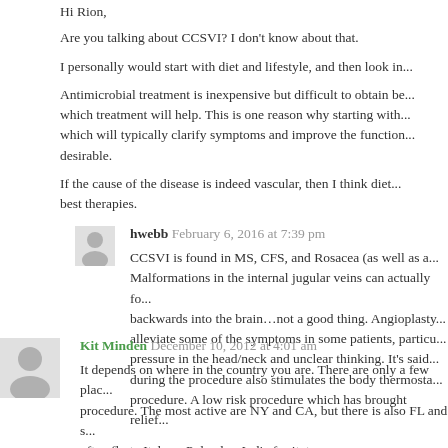Hi Rion,
Are you talking about CCSVI? I don't know about that.
I personally would start with diet and lifestyle, and then look in...
Antimicrobial treatment is inexpensive but difficult to obtain be... which treatment will help. This is one reason why starting with... which will typically clarify symptoms and improve the function... desirable.
If the cause of the disease is indeed vascular, then I think diet... best therapies.
hwebb February 6, 2016 at 7:39 pm
CCSVI is found in MS, CFS, and Rosacea (as well as a... Malformations in the internal jugular veins can actually fo... backwards into the brain...not a good thing. Angioplasty... alleviate some of the symptoms in some patients, particu... pressure in the head/neck and unclear thinking. It's said... during the procedure also stimulates the body thermosta... procedure. A low risk procedure which has brought relief...
Kit Minden December 10, 2012 at 4:01 am
It depends on where in the country you are. There are only a few plac... procedure. The most active are NY and CA, but there is also FL and s... often fly to Italy or Poland or India for it, too.
Stem cell, people go to Panama or CA.